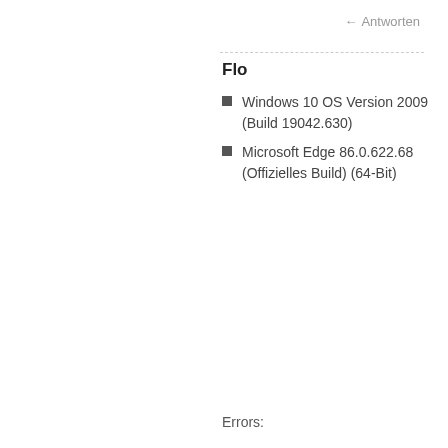Antworten
Flo
Windows 10 OS Version 2009 (Build 19042.630)
Microsoft Edge 86.0.622.68 (Offizielles Build) (64-Bit)
Errors: